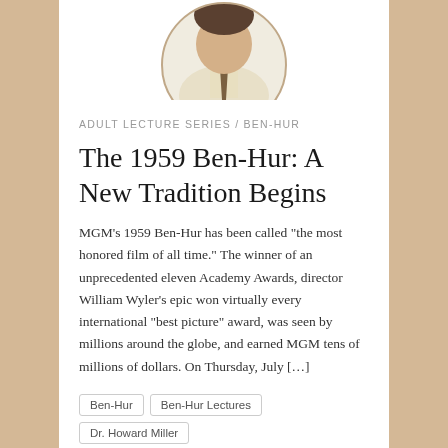[Figure (photo): Circular cropped portrait photo of a man in a light shirt and tie, partially visible at the top of the page]
ADULT LECTURE SERIES / BEN-HUR
The 1959 Ben-Hur: A New Tradition Begins
MGM’s 1959 Ben-Hur has been called “the most honored film of all time.” The winner of an unprecedented eleven Academy Awards, director William Wyler’s epic won virtually every international “best picture” award, was seen by millions around the globe, and earned MGM tens of millions of dollars. On Thursday, July […]
Ben-Hur
Ben-Hur Lectures
Dr. Howard Miller
lecture videos
lectures
videos